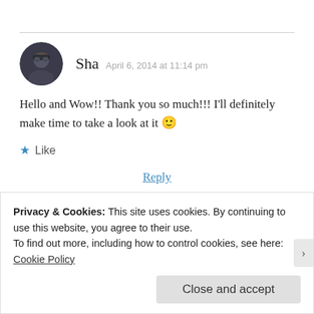Sha  April 6, 2014 at 11:14 pm
Hello and Wow!! Thank you so much!!! I'll definitely make time to take a look at it 🙂
★ Like
Reply
Pingback: New Bloggers Unite!! |
Privacy & Cookies: This site uses cookies. By continuing to use this website, you agree to their use.
To find out more, including how to control cookies, see here:
Cookie Policy
Close and accept